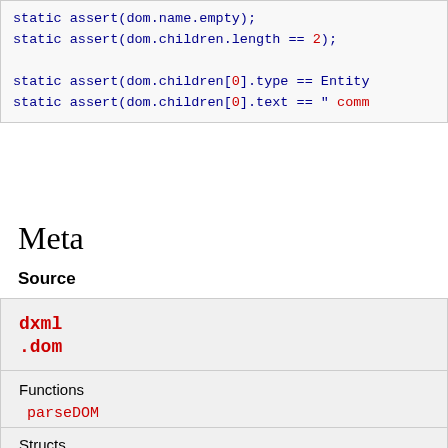static assert(dom.name.empty);
static assert(dom.children.length == 2);
static assert(dom.children[0].type == Entity
static assert(dom.children[0].text == " comm
Meta
Source
See Implementation
dxml
.dom
Functions
parseDOM
Structs